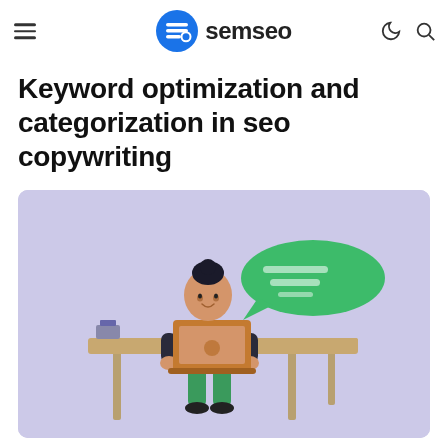semseo
Keyword optimization and categorization in seo copywriting
[Figure (illustration): 3D cartoon character of a person with dark hair bun, wearing green pants, sitting at a wooden desk with a laptop, with a green speech bubble appearing from the screen, lavender/purple background]